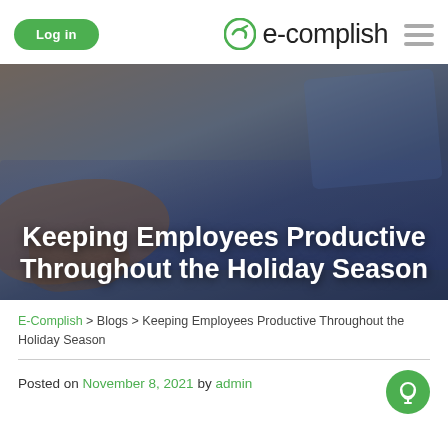Log in | e-complish
[Figure (photo): Hero banner photograph of hands typing on a laptop keyboard with blue-lit keys, overlaid with bold white text: 'Keeping Employees Productive Throughout the Holiday Season']
Keeping Employees Productive Throughout the Holiday Season
E-Complish > Blogs > Keeping Employees Productive Throughout the Holiday Season
Posted on November 8, 2021 by admin